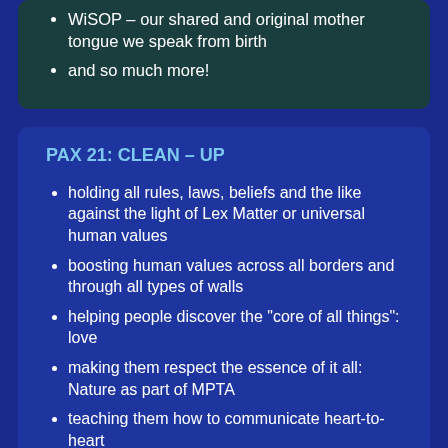WiSOP – our shared and original mother tongue we speak from birth
and so much more!
PAX 21: CLEAN – UP
holding all rules, laws, beliefs and the like against the light of Lex Matter or universal human values
boosting human values across all borders and through all types of walls
helping people discover the "core of all things": love
making them respect the essence of it all: Nature as part of MPTA
teaching them how to communicate heart-to-heart
teaching them WiSOP so that they respect other